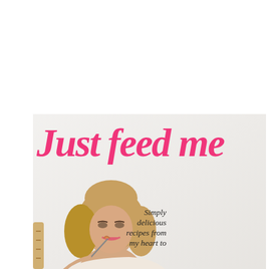[Figure (photo): Book cover of 'Just feed me' — a cookbook with large hot-pink script title at top, a woman eating pasta in the lower left, and subtitle text in italic on the lower right reading 'Simply delicious recipes from my heart to yours'. Background is light warm grey/white.]
Just feed me
Simply delicious recipes from my heart to